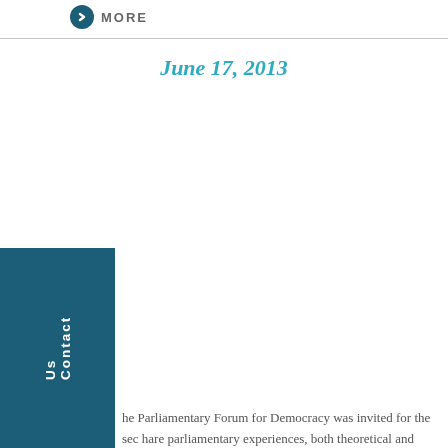MORE
June 17, 2013
he Parliamentary Forum for Democracy was invited for the sec hare parliamentary experiences, both theoretical and practical a ncouraged, enthusiastic young participants of the Tunisian Scho
MORE
April 28, 2013
MORE
April 27, 2013